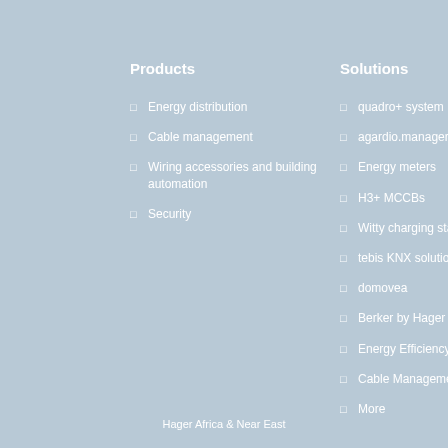Products
Energy distribution
Cable management
Wiring accessories and building automation
Security
Solutions
quadro+ system
agardio.manager
Energy meters
H3+ MCCBs
Witty charging station
tebis KNX solution
domovea
Berker by Hager design
Energy Efficiency
Cable Management R...
More
Hager Africa & Near East